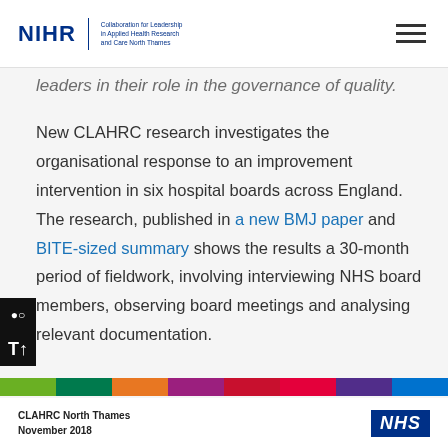NIHR | Collaboration for Leadership in Applied Health Research and Care North Thames
leaders in their role in the governance of quality.
New CLAHRC research investigates the organisational response to an improvement intervention in six hospital boards across England. The research, published in a new BMJ paper and BITE-sized summary shows the results a 30-month period of fieldwork, involving interviewing NHS board members, observing board meetings and analysing relevant documentation.
CLAHRC North Thames
November 2018